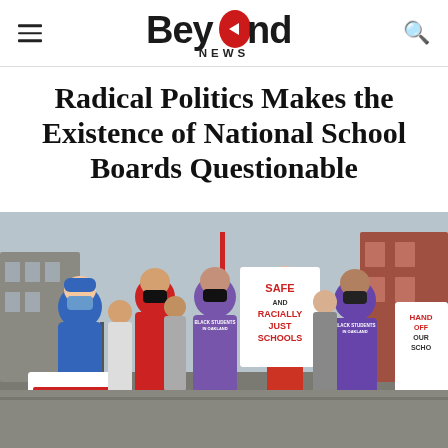Beyond NEWS
Radical Politics Makes the Existence of National School Boards Questionable
[Figure (photo): Protesters wearing masks and holding signs at an outdoor demonstration. Signs visible include 'HANDS OFF OUR SCHOOLS' in red and white, 'SAFE AND RACIALLY JUST SCHOOLS', and 'HANDS OFF OUR SCHOOLS'. Participants wear purple 'BLACK STUDENTS IN OAKLAND' t-shirts and red shirts.]